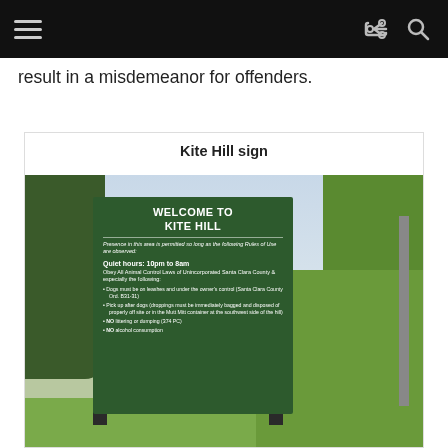[navigation bar with hamburger menu and share/search icons]
result in a misdemeanor for offenders.
Kite Hill sign
[Figure (photo): Photograph of a dark green 'Welcome to Kite Hill' sign mounted on two posts. The sign reads: 'WELCOME TO KITE HILL. Presence in this area is permitted so long as the following Rules of Use are observed: Quiet hours: 10pm to 8am. Obey All Animal Control Laws of Unincorporated Santa Clara County & especially the following: Dogs must be on leashes and under the owner's control (Santa Clara County Ord. B31-31). Pick up after dogs (droppings must be immediately bagged and disposed of properly off site or in the Mutt Mitt container at the southwest side of the hill). NO littering or dumping (374 PC). NO alcohol consumption.' The sign is surrounded by green hedges and trees, with a blue sky in the background.]